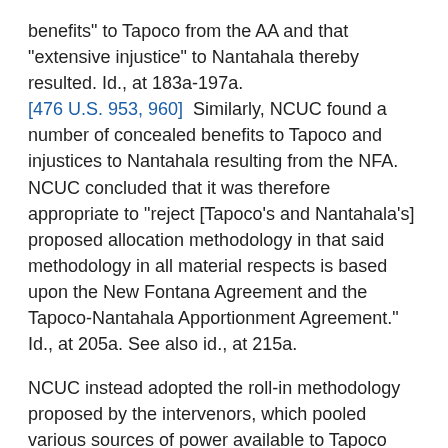benefits" to Tapoco from the AA and that "extensive injustice" to Nantahala thereby resulted. Id., at 183a-197a. [476 U.S. 953, 960]  Similarly, NCUC found a number of concealed benefits to Tapoco and injustices to Nantahala resulting from the NFA. NCUC concluded that it was therefore appropriate to "reject [Tapoco's and Nantahala's] proposed allocation methodology in that said methodology in all material respects is based upon the New Fontana Agreement and the Tapoco-Nantahala Apportionment Agreement." Id., at 205a. See also id., at 215a.
NCUC instead adopted the roll-in methodology proposed by the intervenors, which pooled various sources of power available to Tapoco and Nantahala and then allocated the pooled power according to demand. NCUC included in the pool all of the power generated by the Tapoco-or Nantahala-owned facilities operated by TVA, despite the fact that the NFA gave Tapoco and Nantahala the right only to the lesser